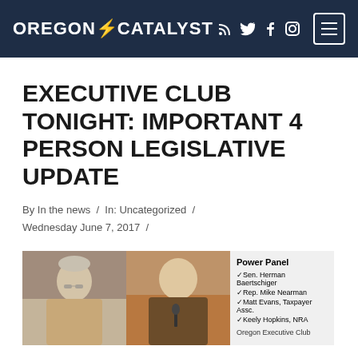OREGON CATALYST
EXECUTIVE CLUB TONIGHT: IMPORTANT 4 PERSON LEGISLATIVE UPDATE
By In the news / In: Uncategorized / Wednesday June 7, 2017 /
[Figure (photo): Two photos of speakers side by side, alongside a Power Panel info box listing Sen. Herman Baertschiger, Rep. Mike Nearman, Matt Evans Taxpayer Assc., Keely Hopkins NRA, Oregon Executive Club]